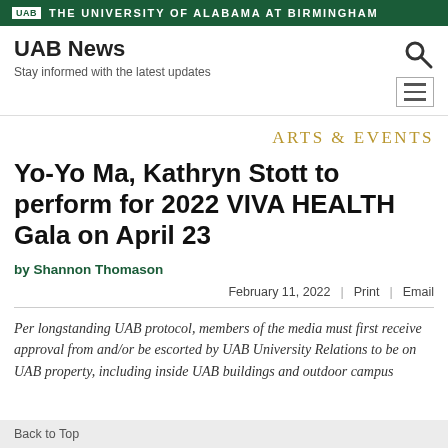UAB THE UNIVERSITY OF ALABAMA AT BIRMINGHAM
UAB News
Stay informed with the latest updates
ARTS & EVENTS
Yo-Yo Ma, Kathryn Stott to perform for 2022 VIVA HEALTH Gala on April 23
by Shannon Thomason
February 11, 2022  |  Print  |  Email
Per longstanding UAB protocol, members of the media must first receive approval from and/or be escorted by UAB University Relations to be on UAB property, including inside UAB buildings and outdoor campus
Back to Top